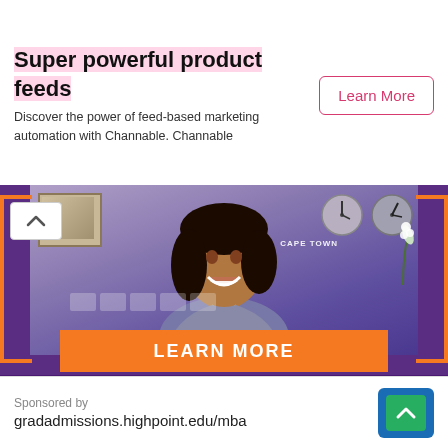Super powerful product feeds
Discover the power of feed-based marketing automation with Channable. Channable
[Figure (photo): High Point University advertisement banner showing a smiling woman in a purple/grey office setting with clocks on the wall labeled CAPE TOWN, orange bracket decorations, and an orange LEARN MORE button. Below the photo is the text HIGH POINT UNIVERSITY in white on a purple background.]
Sponsored by
gradadmissions.highpoint.edu/mba